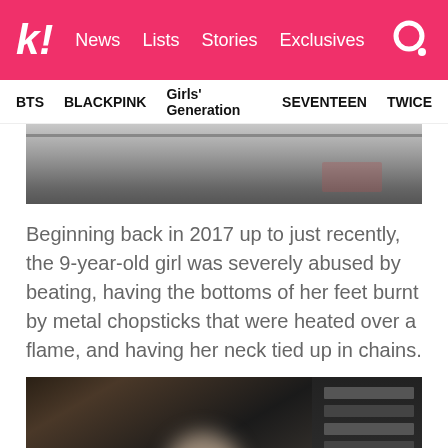k! News  Lists  Stories  Exclusives
BTS  BLACKPINK  Girls' Generation  SEVENTEEN  TWICE
[Figure (screenshot): CCTV footage still image, top portion, grayscale]
Beginning back in 2017 up to just recently, the 9-year-old girl was severely abused by beating, having the bottoms of her feet burnt by metal chopsticks that were heated over a flame, and having her neck tied up in chains.
[Figure (screenshot): CCTV footage still image showing interior of a store, with a blurred face of a person]